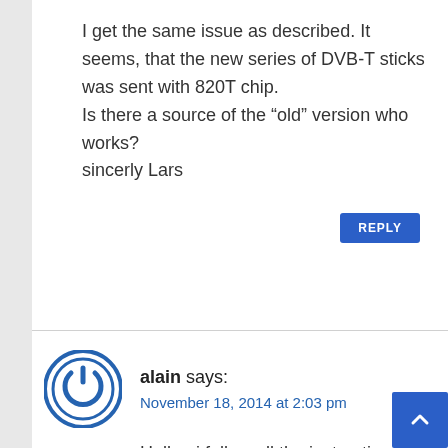I get the same issue as described. It seems, that the new series of DVB-T sticks was sent with 820T chip.
Is there a source of the “old” version who works?
sincerly Lars
alain says:
November 18, 2014 at 2:03 pm
Hello , i follow all the instruction but have this problem :